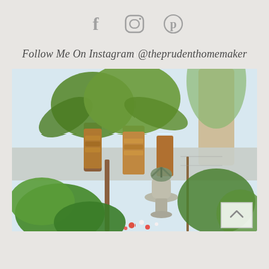[Figure (infographic): Three social media icons: Facebook (f), Instagram (camera outline), Pinterest (P in circle), displayed in gray]
Follow Me On Instagram @theprudenthomemaker
[Figure (photo): Outdoor garden photo showing palm trees with golden trunks, a decorative stone urn planter with a succulent, lush green plants including tomatoes, flowering plants, and a wood pole trellis against a light concrete block wall]